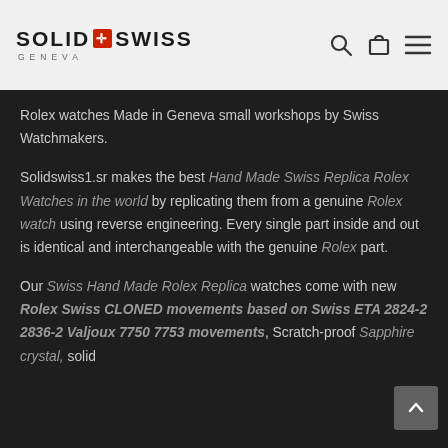[Figure (logo): Solid Swiss Geneva logo with red cross icon in header]
SOLID SWISS GENEVA — navigation header with search, cart, and menu icons
Rolex watches Made in Geneva small workshops by Swiss Watchmakers.
Solidswiss1.sr makes the best Hand Made Swiss Replica Rolex Watches in the world by replicating them from a genuine Rolex watch using reverse engineering. Every single part inside and out is identical and interchangeable with the genuine Rolex part.
Our Swiss Hand Made Rolex Replica watches come with new Rolex Swiss CLONED movements based on Swiss ETA 2824-2 2836-2 Valjoux 7750 7753 movements, Scratch-proof Sapphire crystal, solid